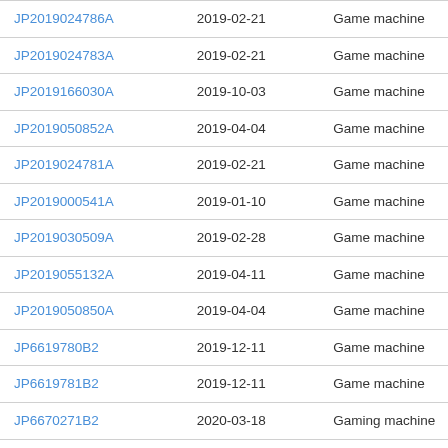| JP2019024786A | 2019-02-21 | Game machine |
| JP2019024783A | 2019-02-21 | Game machine |
| JP2019166030A | 2019-10-03 | Game machine |
| JP2019050852A | 2019-04-04 | Game machine |
| JP2019024781A | 2019-02-21 | Game machine |
| JP2019000541A | 2019-01-10 | Game machine |
| JP2019030509A | 2019-02-28 | Game machine |
| JP2019055132A | 2019-04-11 | Game machine |
| JP2019050850A | 2019-04-04 | Game machine |
| JP6619780B2 | 2019-12-11 | Game machine |
| JP6619781B2 | 2019-12-11 | Game machine |
| JP6670271B2 | 2020-03-18 | Gaming machine |
|  |  |  |